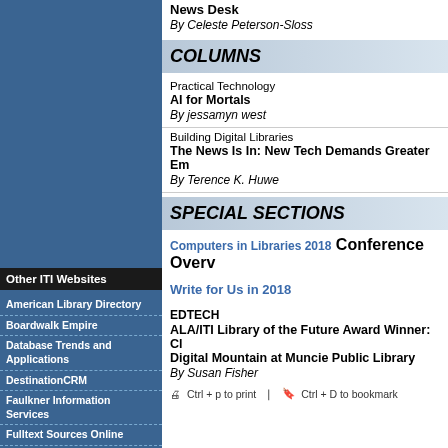News Desk
By Celeste Peterson-Sloss
COLUMNS
Practical Technology
AI for Mortals
By jessamyn west
Building Digital Libraries
The News Is In: New Tech Demands Greater Em...
By Terence K. Huwe
SPECIAL SECTIONS
Computers in Libraries 2018 Conference Overv...
Write for Us in 2018
EDTECH
ALA/ITI Library of the Future Award Winner: Cl... Digital Mountain at Muncie Public Library
By Susan Fisher
Ctrl + p to print   Ctrl + D to bookmark
Other ITI Websites
American Library Directory
Boardwalk Empire
Database Trends and Applications
DestinationCRM
Faulkner Information Services
Fulltext Sources Online
InfoToday Europe
KMWorld